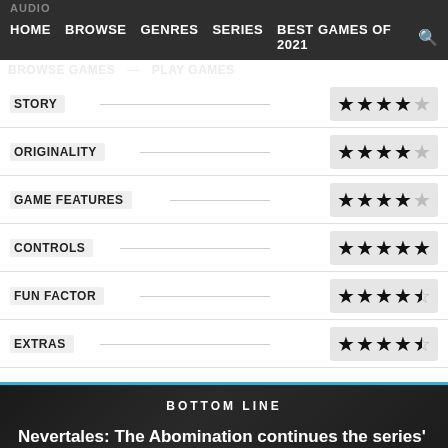HOME  BROWSE  GENRES  SERIES  BEST GAMES OF 2021
STORY — 3.5 stars
ORIGINALITY — 4 stars
GAME FEATURES — 4 stars
CONTROLS — 5 stars
FUN FACTOR — 4.5 stars
EXTRAS — 4.5 stars
BOTTOM LINE
Nevertales: The Abomination continues the series' impressive streak of engaging and creative adventures.